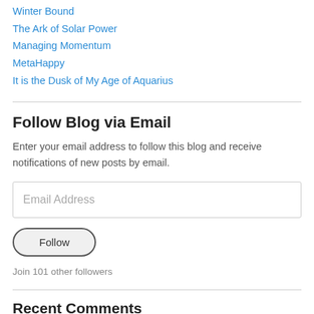Winter Bound
The Ark of Solar Power
Managing Momentum
MetaHappy
It is the Dusk of My Age of Aquarius
Follow Blog via Email
Enter your email address to follow this blog and receive notifications of new posts by email.
Email Address
Follow
Join 101 other followers
Recent Comments